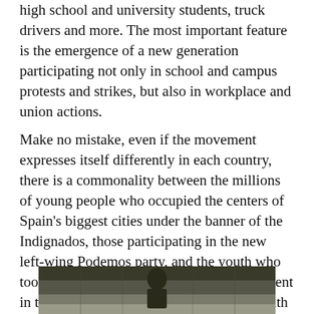high school and university students, truck drivers and more. The most important feature is the emergence of a new generation participating not only in school and campus protests and strikes, but also in workplace and union actions.
Make no mistake, even if the movement expresses itself differently in each country, there is a commonality between the millions of young people who occupied the centers of Spain's biggest cities under the banner of the Indignados, those participating in the new left-wing Podemos party, and the youth who took part in the Occupy Wall Street movement in the United States. This new round of youth radicalization was also expressed in the anti-climate change protests [which had to defy governmental bans imposed in the wake of the November terrorist attacks] at the international COP 21 conference in Paris last December.
[Figure (photo): Partial photograph of a person or scene, bottom of page, cropped]